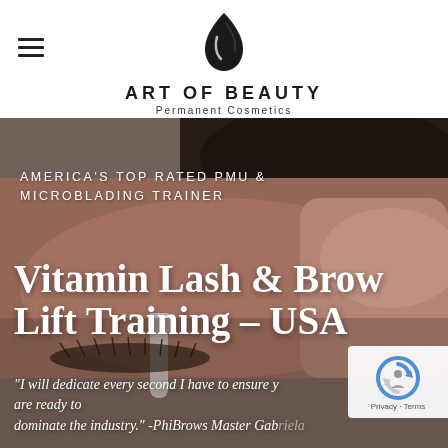[Figure (logo): Art of Beauty Permanent Cosmetics logo — dark teardrop/flame icon above the text 'ART OF BEAUTY' in spaced uppercase letters with 'Permanent Cosmetics' subtitle]
[Figure (photo): Close-up photo of hands performing a cosmetic procedure (microblading/lash lift) on a person's eye area, used as full-width hero banner background]
AMERICA'S TOP RATED PMU & MICROBLADING TRAINER
Vitamin Lash & Brow Lift Training – USA
"I will dedicate every second I have to ensure [you] are ready to dominate the industry." -PhiBrows Master Gabriela